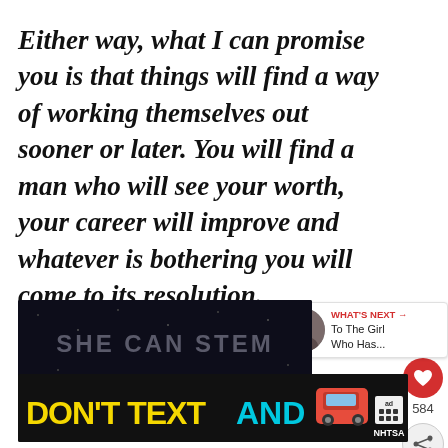Either way, what I can promise you is that things will find a way of working themselves out sooner or later. You will find a man who will see your worth, your career will improve and whatever is bothering you will come to its resolution.
[Figure (screenshot): Like button (heart icon, red circle) with count 584, and share button below it]
[Figure (screenshot): What's Next panel with thumbnail photo and text 'To The Girl Who Has...']
[Figure (screenshot): SHE CAN STEM advertisement banner on dark background]
[Figure (screenshot): DON'T TEXT AND [car emoji] NHTSA advertisement banner]